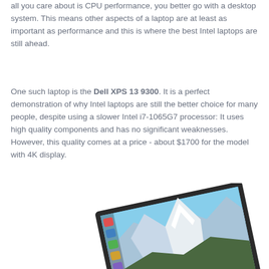all you care about is CPU performance, you better go with a desktop system. This means other aspects of a laptop are at least as important as performance and this is where the best Intel laptops are still ahead.
One such laptop is the Dell XPS 13 9300. It is a perfect demonstration of why Intel laptops are still the better choice for many people, despite using a slower Intel i7-1065G7 processor: It uses high quality components and has no significant weaknesses. However, this quality comes at a price - about $1700 for the model with 4K display.
[Figure (photo): Photo of a Dell XPS 13 9300 laptop partially open, showing the display with a mountain landscape wallpaper and desktop icons on the left side.]